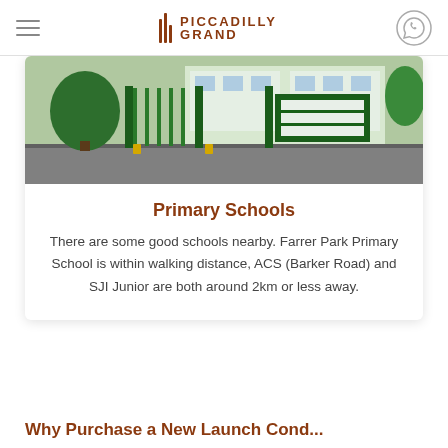PICCADILLY GRAND
[Figure (photo): School entrance with green gates and a sign board for a primary school building]
Primary Schools
There are some good schools nearby. Farrer Park Primary School is within walking distance, ACS (Barker Road) and SJI Junior are both around 2km or less away.
Why Purchase a New Launch Cond...